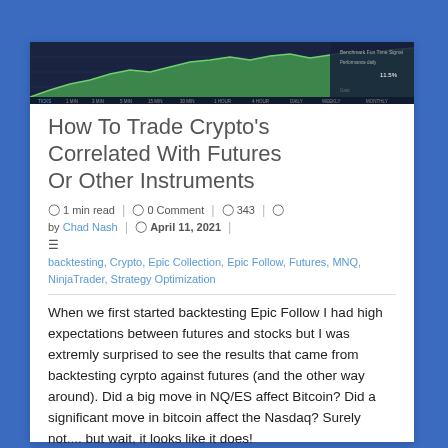[Figure (screenshot): Screenshot of a trading chart with green candlesticks on dark background, showing crypto/futures data]
How To Trade Crypto's Correlated With Futures Or Other Instruments
1 min read  |  0 Comment  |  343  |  by Chad Nash  |  April 11, 2021
backtesting, Crypto, Epic Collection, Epic Follow, Futures, MNQ, NinjaTrader, Strategy Optimization
When we first started backtesting Epic Follow I had high expectations between futures and stocks but I was extremly surprised to see the results that came from backtesting cyrpto against futures (and the other way around). Did a big move in NQ/ES affect Bitcoin? Did a significant move in bitcoin affect the Nasdaq? Surely not.... but wait, it looks like it does!